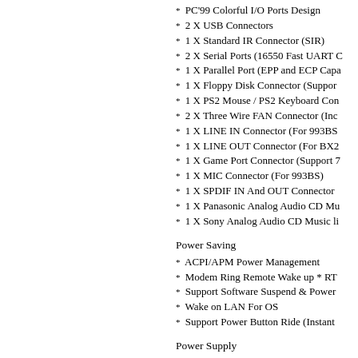PC'99 Colorful I/O Ports Design
2 X USB Connectors
1 X Standard IR Connector (SIR)
2 X Serial Ports (16550 Fast UART C...
1 X Parallel Port (EPP and ECP Capa...
1 X Floppy Disk Connector (Suppor...
1 X PS2 Mouse / PS2 Keyboard Con...
2 X Three Wire FAN Connector (Inc...
1 X LINE IN Connector (For 993BS...
1 X LINE OUT Connector (For BX2...
1 X Game Port Connector (Support 7...
1 X MIC Connector (For 993BS)
1 X SPDIF IN And OUT Connector ...
1 X Panasonic Analog Audio CD Mu...
1 X Sony Analog Audio CD Music li...
Power Saving
ACPI/APM Power Management
Modem Ring Remote Wake up * RT...
Support Software Suspend & Power...
Wake on LAN For OS
Support Power Button Ride (Instant...
Power Supply
Support 12-pin standard AT power su...
Support 20-pin ATX power supply (A...
BIOS
Award BIOS , Support DMI , Green...
2MByte Flash ROM
Support Full Screen Logo
Dimension